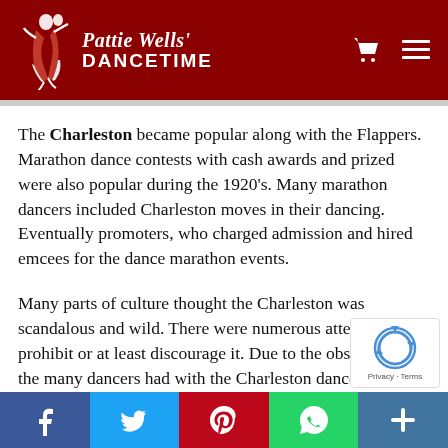Pattie Wells' DANCETIME
The Charleston became popular along with the Flappers. Marathon dance contests with cash awards and prized were also popular during the 1920's. Many marathon dancers included Charleston moves in their dancing. Eventually promoters, who charged admission and hired emcees for the dance marathon events.
Many parts of culture thought the Charleston was scandalous and wild. There were numerous attempts to prohibit or at least discourage it. Due to the obsession with the many dancers had with the Charleston dance, they spent many long hours a[...] Doctors and hospitals were